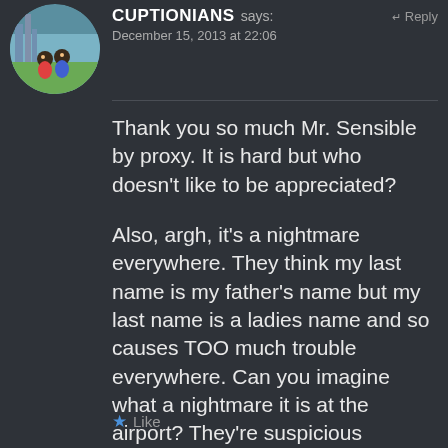[Figure (illustration): Circular avatar image showing two cartoon characters sitting together with a colorful background]
CUPTIONIANS says: December 15, 2013 at 22:06 ← Reply
Thank you so much Mr. Sensible by proxy. It is hard but who doesn't like to be appreciated?
Also, argh, it's a nightmare everywhere. They think my last name is my father's name but my last name is a ladies name and so causes TOO much trouble everywhere. Can you imagine what a nightmare it is at the airport? They're suspicious enough about us 3rd world peeps.
★ Like